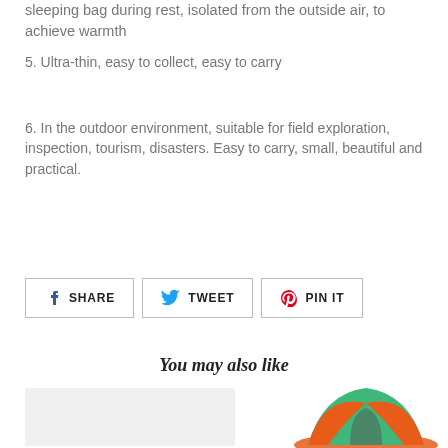sleeping bag during rest, isolated from the outside air, to achieve warmth
5. Ultra-thin, easy to collect, easy to carry
6. In the outdoor environment, suitable for field exploration, inspection, tourism, disasters. Easy to carry, small, beautiful and practical.
[Figure (other): Social share buttons: Facebook SHARE, Twitter TWEET, Pinterest PIN IT]
You may also like
[Figure (photo): Product image placeholder (light grey box) and a partially visible orange and green camping tent photo]